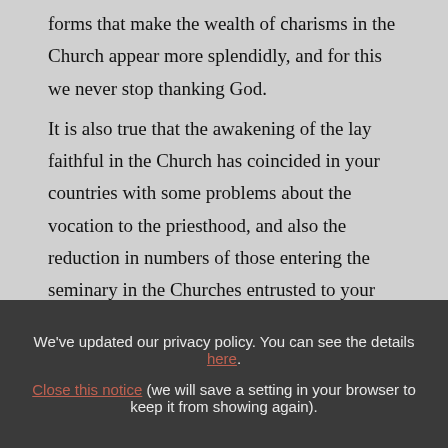Lay people live the grace of their Baptism in forms that make the wealth of charisms in the Church appear more splendidly, and for this we never stop thanking God.

It is also true that the awakening of the lay faithful in the Church has coincided in your countries with some problems about the vocation to the priesthood, and also the reduction in numbers of those entering the seminary in the Churches entrusted to your
We've updated our privacy policy. You can see the details here. Close this notice (we will save a setting in your browser to keep it from showing again).